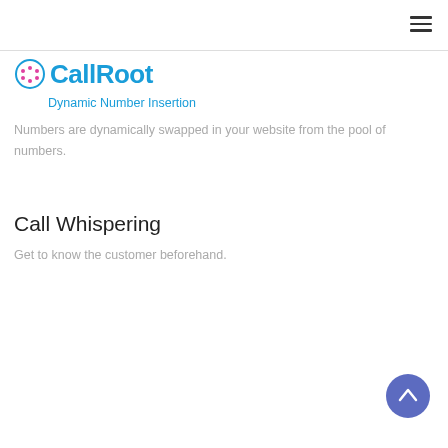[Figure (logo): CallRoot logo with circular icon and text 'CallRoot' in blue]
Dynamic Number Insertion
Numbers are dynamically swapped in your website from the pool of numbers.
Call Whispering
Get to know the customer beforehand.